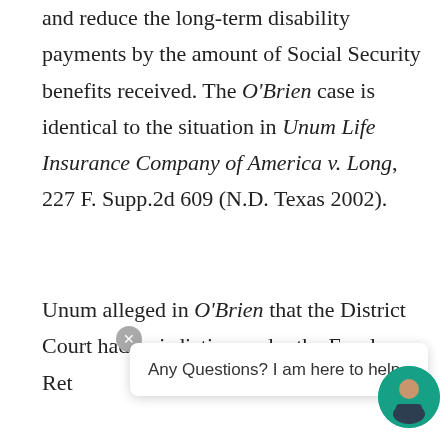and reduce the long-term disability payments by the amount of Social Security benefits received. The O'Brien case is identical to the situation in Unum Life Insurance Company of America v. Long, 227 F. Supp.2d 609 (N.D. Texas 2002).
Unum alleged in O'Brien that the District Court had jurisdiction under the Employee Retirement Income Security Act. It contended that its jurisdiction...